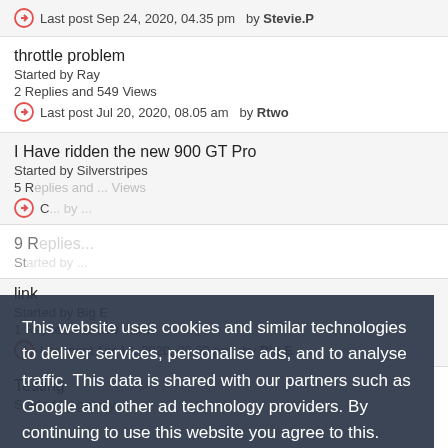Last post Sep 24, 2020, 04.35 pm by Stevie.P
throttle problem
Started by Ray
2 Replies and 549 Views
Last post Jul 20, 2020, 08.05 am by Rtwo
I Have ridden the new 900 GT Pro
Started by Silverstripes
5 Replies...
Last post ... by ...
link...
Started by Big E
1 Replies and 630 Views
Last post Apr 13, 2020, 08.59 pm by Big E
Testing
Started by geejay
This website uses cookies and similar technologies to deliver services, personalise ads, and to analyse traffic. This data is shared with our partners such as Google and other ad technology providers. By continuing to use this website you agree to this.
View our Privacy and Cookie Policy
I Agree